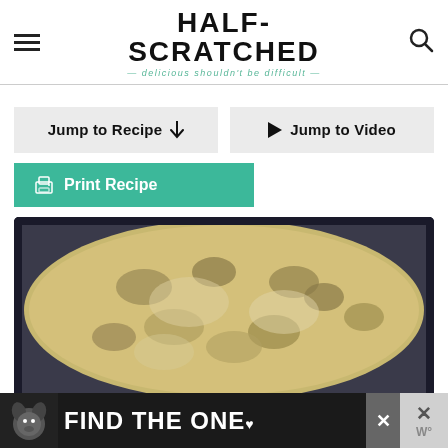HALF-SCRATCHED — delicious shouldn't be difficult —
Jump to Recipe ↓
▶ Jump to Video
🖨 Print Recipe
[Figure (photo): A cast iron skillet filled with a creamy mushroom sauce dish, viewed from above]
[Figure (photo): Advertisement banner: dog image with text FIND THE ONE with a heart symbol, close button, and W degree symbol]